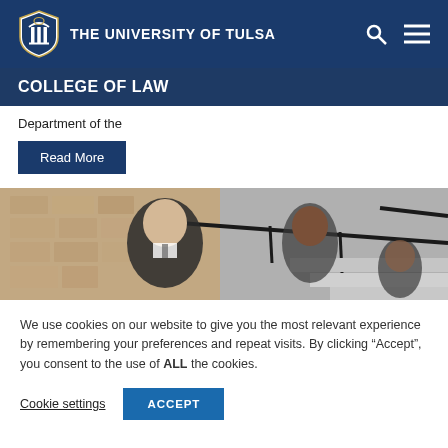THE UNIVERSITY OF TULSA
COLLEGE OF LAW
Department of the
Read More
[Figure (photo): Two law students standing on exterior steps of a building — a man in a dark suit in the foreground and a woman behind him, both looking toward the camera, with stone steps and a black handrail visible.]
We use cookies on our website to give you the most relevant experience by remembering your preferences and repeat visits. By clicking “Accept”, you consent to the use of ALL the cookies.
Cookie settings
ACCEPT